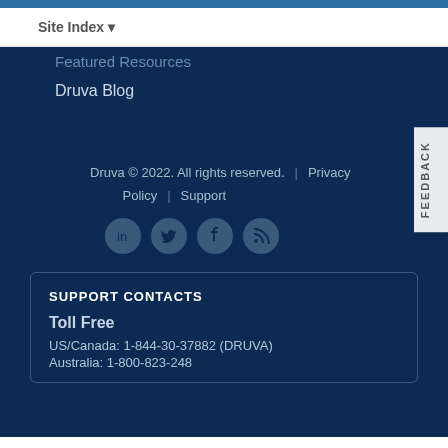Site Index ▾
Featured Resources
Druva Blog
Druva © 2022. All rights reserved. | Privacy Policy | Support
[Figure (other): Social media icons: LinkedIn, Twitter, Facebook, RSS]
SUPPORT CONTACTS
Toll Free
US/Canada: 1-844-30-37882 (DRUVA)
Australia: 1-800-823-248